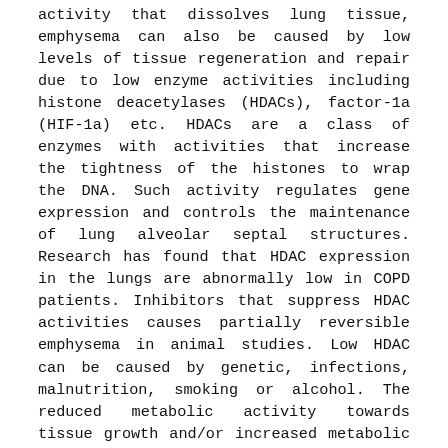activity that dissolves lung tissue, emphysema can also be caused by low levels of tissue regeneration and repair due to low enzyme activities including histone deacetylases (HDACs), factor-1a (HIF-1a) etc. HDACs are a class of enzymes with activities that increase the tightness of the histones to wrap the DNA. Such activity regulates gene expression and controls the maintenance of lung alveolar septal structures. Research has found that HDAC expression in the lungs are abnormally low in COPD patients. Inhibitors that suppress HDAC activities causes partially reversible emphysema in animal studies. Low HDAC can be caused by genetic, infections, malnutrition, smoking or alcohol. The reduced metabolic activity towards tissue growth and/or increased metabolic activity toward tissue dissolving causes lung structure degeneration leading to the development of emphysema.
Chronic Bronchitis is the chronic inflammation of the bronchi due to infection or